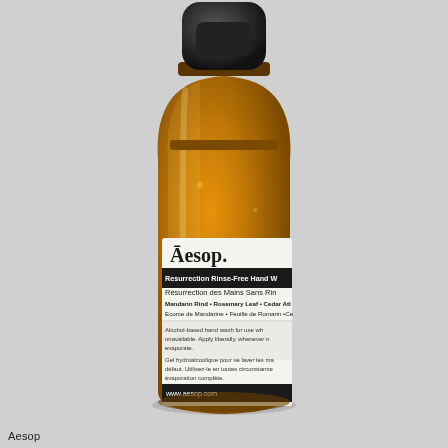[Figure (photo): Aesop Resurrection Rinse-Free Hand Wash in a small amber glass bottle with a black cap. The white label reads: Aesop. / Resurrection Rinse-Free Hand W... / Résurrection des Mains Sans Rin... / Mandarin Rind • Rosemary Leaf • Cedar Atl... / Ecorce de Mandarine • Feuille de Romarin • Ce... / [black band] Alcohol-based hand wash for use wh... unavailable. Apply liberally, whenever n... evaporate. / Gel hydroalcoolique pour se laver les ma... défaut. Utilisez-le en toutes circonstance... évaporation complète. / [black band] www.aesop.com. Background is light grey.]
Aesop